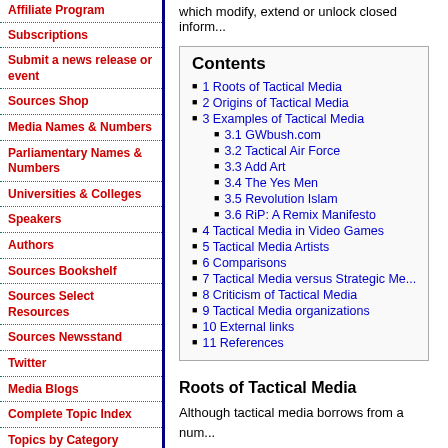which modify, extend or unlock closed inform...
Affiliate Program
Subscriptions
Submit a news release or event
Sources Shop
Media Names & Numbers
Parliamentary Names & Numbers
Universities & Colleges
Speakers
Authors
Sources Bookshelf
Sources Select Resources
Sources Newsstand
Twitter
Media Blogs
Complete Topic Index
Topics by Category
News release topic index
Français
Español
Deutsch
Contents
1 Roots of Tactical Media
2 Origins of Tactical Media
3 Examples of Tactical Media
3.1 GWbush.com
3.2 Tactical Air Force
3.3 Add Art
3.4 The Yes Men
3.5 Revolution Islam
3.6 RiP: A Remix Manifesto
4 Tactical Media in Video Games
5 Tactical Media Artists
6 Comparisons
7 Tactical Media versus Strategic Me...
8 Criticism of Tactical Media
9 Tactical Media organizations
10 External links
11 References
Roots of Tactical Media
Although tactical media borrows from a num...
much of its techniques are rooted in the Sit...